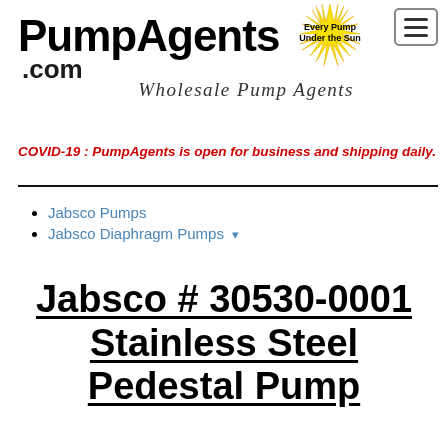[Figure (logo): PumpAgents.com logo with sunburst graphic, bold text 'PumpAgents' and tagline '.com Wholesale Pump Agents' and 'Every Pump Under the Sun']
COVID-19 : PumpAgents is open for business and shipping daily.
Jabsco Pumps
Jabsco Diaphragm Pumps
Jabsco # 30530-0001 Stainless Steel Pedestal Pump